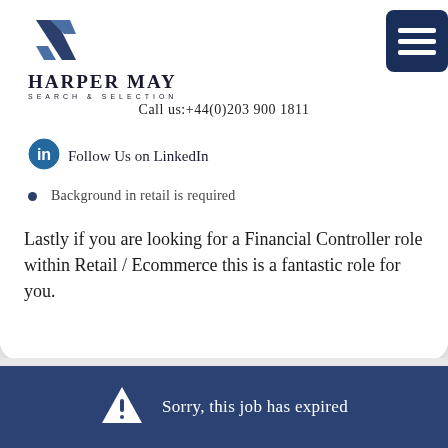[Figure (logo): Harper May Search & Selection logo with stylized ZZ icon in dark navy blue]
Call us:+44(0)203 900 1811
[Figure (logo): LinkedIn icon (blue circle with 'in')]
Follow Us on LinkedIn
Background in retail is required
Lastly if you are looking for a Financial Controller role within Retail / Ecommerce this is a fantastic role for you.
Sorry, this job has expired